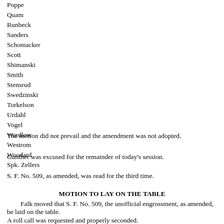Poppe
Quam
Runbeck
Sanders
Schomacker
Scott
Shimanski
Smith
Stensrud
Swedzinski
Torkelson
Urdahl
Vogel
Wardlow
Westrom
Woodard
Spk. Zellers
The motion did not prevail and the amendment was not adopted.
Gunther was excused for the remainder of today's session.
S. F. No. 509, as amended, was read for the third time.
MOTION TO LAY ON THE TABLE
Falk moved that S. F. No. 509, the unofficial engrossment, as amended, be laid on the table.
A roll call was requested and properly seconded.